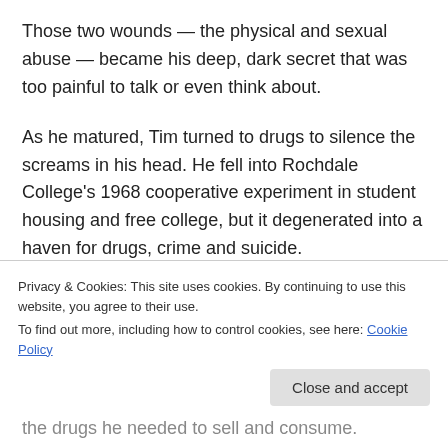Those two wounds — the physical and sexual abuse — became his deep, dark secret that was too painful to talk or even think about.
As he matured, Tim turned to drugs to silence the screams in his head. He fell into Rochdale College's 1968 cooperative experiment in student housing and free college, but it degenerated into a haven for drugs, crime and suicide.
“I was doing everything I could to medicate the pain that I was feeling from my past,” he later said. He committed break and enters to get the drugs he needed to sell and consume.
Privacy & Cookies: This site uses cookies. By continuing to use this website, you agree to their use.
To find out more, including how to control cookies, see here: Cookie Policy